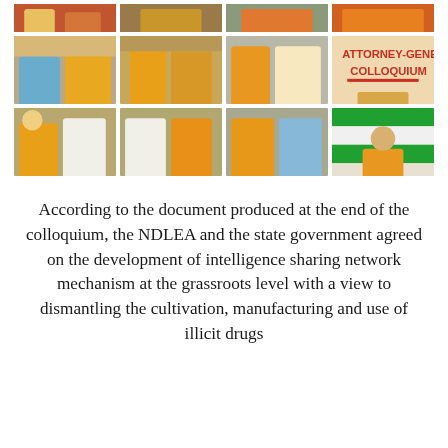[Figure (photo): Grid of 8 photos from Attorney-General's Colloquium event showing people in traditional Nigerian attire (orange, blue, white) seated and standing in a hall]
According to the document produced at the end of the colloquium, the NDLEA and the state government agreed on the development of intelligence sharing network mechanism at the grassroots level with a view to dismantling the cultivation, manufacturing and use of illicit drugs